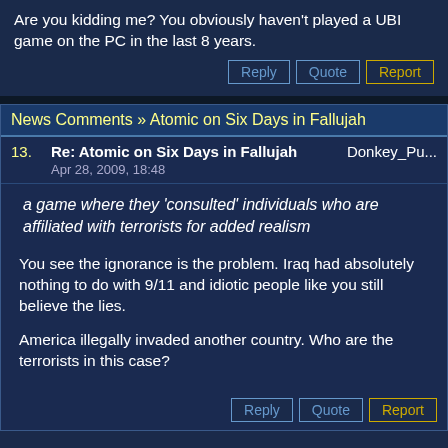Are you kidding me? You obviously haven't played a UBI game on the PC in the last 8 years.
News Comments » Atomic on Six Days in Fallujah
13. Re: Atomic on Six Days in Fallujah   Donkey_Pu...  Apr 28, 2009, 18:48
a game where they 'consulted' individuals who are affiliated with terrorists for added realism
You see the ignorance is the problem. Iraq had absolutely nothing to do with 9/11 and idiotic people like you still believe the lies.

America illegally invaded another country. Who are the terrorists in this case?